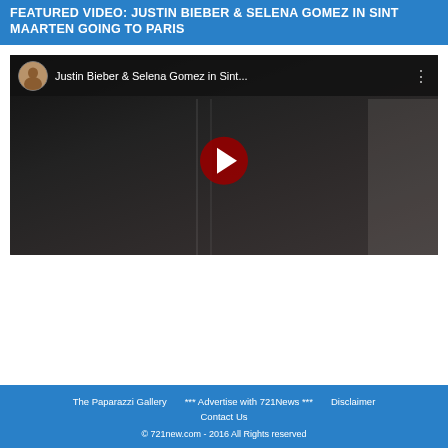FEATURED VIDEO: JUSTIN BIEBER & SELENA GOMEZ IN SINT MAARTEN GOING TO PARIS
[Figure (screenshot): YouTube video embed showing 'Justin Bieber & Selena Gomez in Sint...' with a YouTube play button overlay on a dark video still, with channel avatar and menu dots in the top bar.]
The Paparazzi Gallery  *** Advertise with 721News ***  Disclaimer  Contact Us
© 721new.com - 2016 All Rights reserved